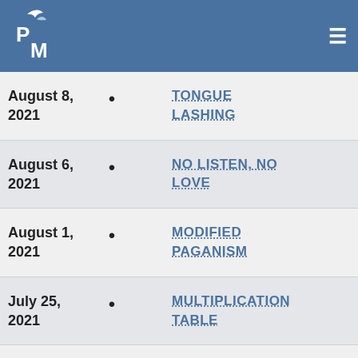[Figure (logo): PM logo with bird and leaf on blue header background]
August 8, 2021 • TONGUE LASHING
August 6, 2021 • NO LISTEN, NO LOVE
August 1, 2021 • MODIFIED PAGANISM
July 25, 2021 • MULTIPLICATION TABLE